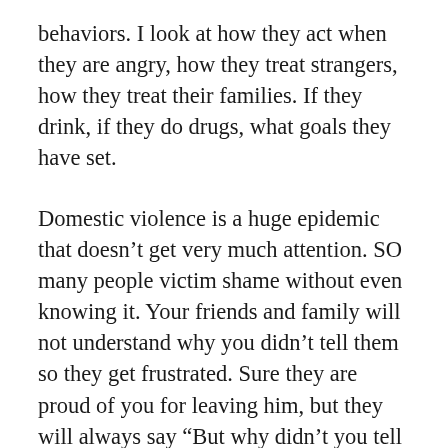behaviors. I look at how they act when they are angry, how they treat strangers, how they treat their families. If they drink, if they do drugs, what goals they have set.
Domestic violence is a huge epidemic that doesn't get very much attention. SO many people victim shame without even knowing it. Your friends and family will not understand why you didn't tell them so they get frustrated. Sure they are proud of you for leaving him, but they will always say “But why didn’t you tell me, I am frustrated you didn’t tell me, or if you hid something that big from me what else are you hiding ” Let me tell you some statics.